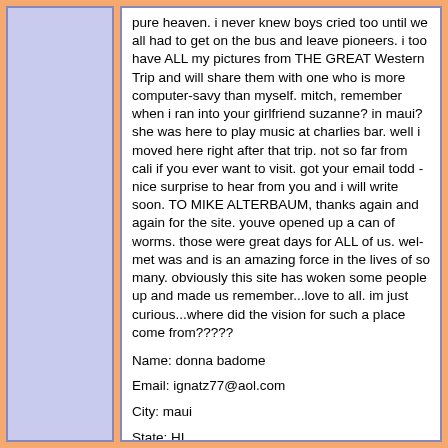pure heaven. i never knew boys cried too until we all had to get on the bus and leave pioneers. i too have ALL my pictures from THE GREAT Western Trip and will share them with one who is more computer-savy than myself. mitch, remember when i ran into your girlfriend suzanne? in maui? she was here to play music at charlies bar. well i moved here right after that trip. not so far from cali if you ever want to visit. got your email todd - nice surprise to hear from you and i will write soon. TO MIKE ALTERBAUM, thanks again and again for the site. youve opened up a can of worms. those were great days for ALL of us. wel-met was and is an amazing force in the lives of so many. obviously this site has woken some people up and made us remember...love to all. im just curious...where did the vision for such a place come from?????
Name: donna badome
Email: ignatz77@aol.com
City: maui
State: HI
Country: na